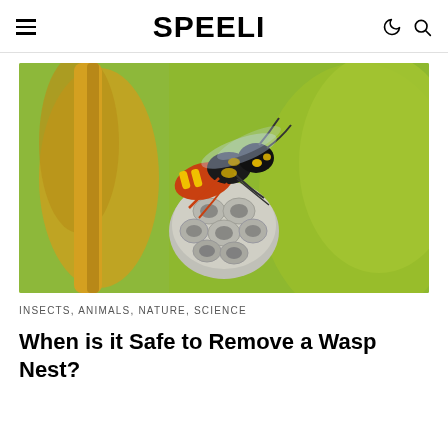SPEELI
[Figure (photo): Close-up macro photograph of a wasp (yellow and black) sitting on top of a small paper wasp nest, surrounded by yellow-brown plant stems and green leaves in the background.]
INSECTS, ANIMALS, NATURE, SCIENCE
When is it Safe to Remove a Wasp Nest?